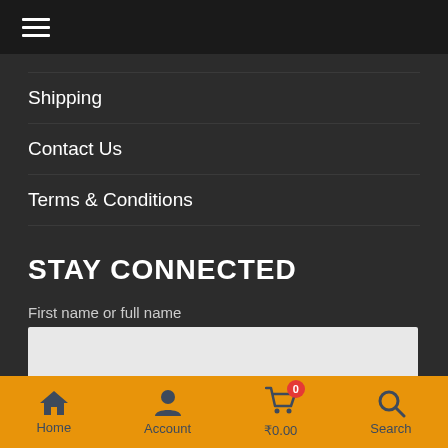≡
Shipping
Contact Us
Terms & Conditions
STAY CONNECTED
First name or full name
Email
Home  Account  ₹0.00  Search